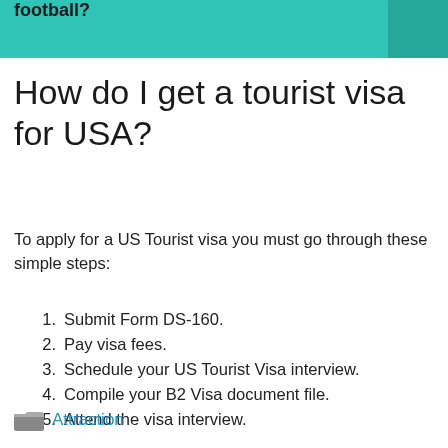football?
How do I get a tourist visa for USA?
To apply for a US Tourist visa you must go through these simple steps:
1. Submit Form DS-160.
2. Pay visa fees.
3. Schedule your US Tourist Visa interview.
4. Compile your B2 Visa document file.
5. Attend the visa interview.
Attraction